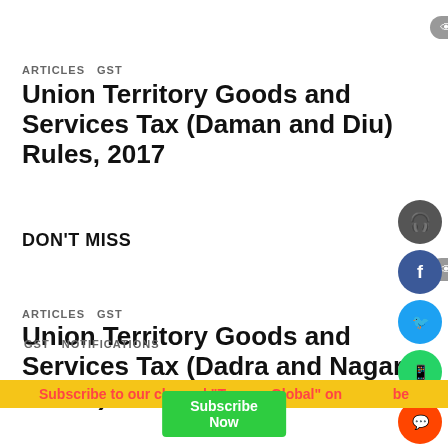👁 9
ARTICLES  GST
Union Territory Goods and Services Tax (Daman and Diu) Rules, 2017
👁 4
ARTICLES  GST
Union Territory Goods and Services Tax (Dadra and Nagar Haveli) Rules, 2017
DON'T MISS
GST  NOTIFICATIONS
Subscribe to our channel "Taxway Global" on YouTube
Subscribe Now